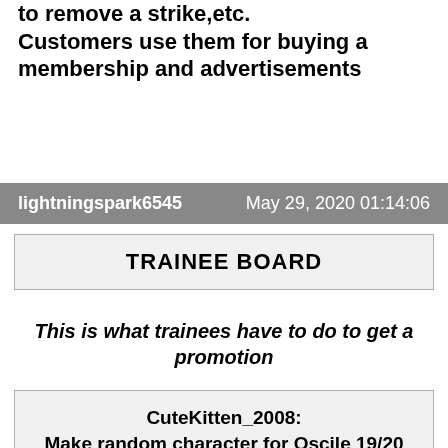to remove a strike,etc. Customers use them for buying a membership and advertisements
lightningspark6545   May 29, 2020 01:14:06
TRAINEE BOARD
This is what trainees have to do to get a promotion
CuteKitten_2008:
Make random character for Oscile 19/20
Make Background for DancingNekoGirl